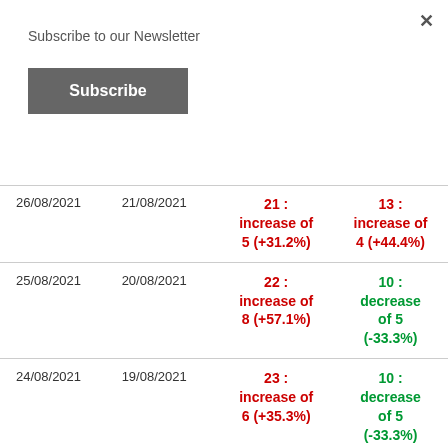Subscribe to our Newsletter
Subscribe
| Date 1 | Date 2 | Col 3 | Col 4 |
| --- | --- | --- | --- |
| 26/08/2021 | 21/08/2021 | 21 : increase of 5 (+31.2%) | 13 : increase of 4 (+44.4%) |
| 25/08/2021 | 20/08/2021 | 22 : increase of 8 (+57.1%) | 10 : decrease of 5 (-33.3%) |
| 24/08/2021 | 19/08/2021 | 23 : increase of 6 (+35.3%) | 10 : decrease of 5 (-33.3%) |
| 23/08/2021 | 18/08/2021 | 17 : | 6 : |